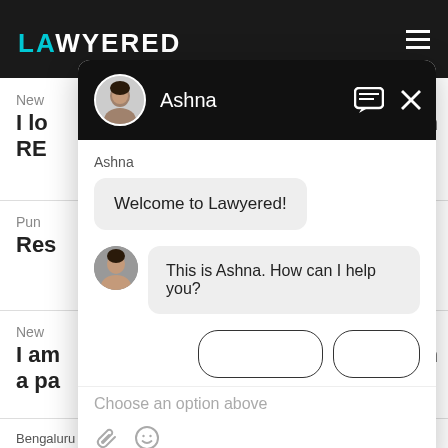[Figure (screenshot): Screenshot of Lawyered website with a chat widget overlay. The website shows a dark navigation bar with the Lawyered logo and hamburger menu. The chat widget shows a conversation with an agent named Ashna, with messages 'Welcome to Lawyered!' and 'This is Ashna. How can I help you?' and a 'Choose an option above' placeholder in the input area. Background page partially shows text including 'New', 'I lo...', 'RE...', 'Pun...', 'Res', 'New', 'I am...', 'a pa...' and footer 'Bengaluru, 25 Oct, 2018, (3 years, 10 months ago)']